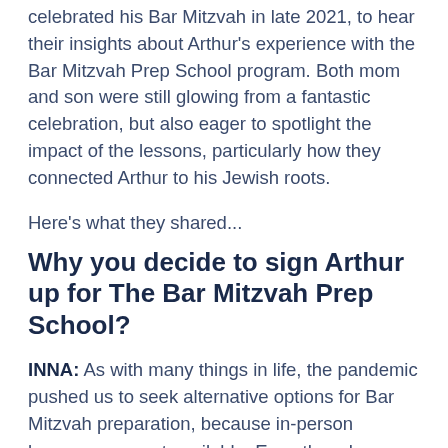celebrated his Bar Mitzvah in late 2021, to hear their insights about Arthur's experience with the Bar Mitzvah Prep School program. Both mom and son were still glowing from a fantastic celebration, but also eager to spotlight the impact of the lessons, particularly how they connected Arthur to his Jewish roots.
Here's what they shared...
Why you decide to sign Arthur up for The Bar Mitzvah Prep School?
INNA: As with many things in life, the pandemic pushed us to seek alternative options for Bar Mitzvah preparation, because in-person lessons were not available. Even though we don't fully practice Judaism in our house, my Jewish roots are very important to me – and I wanted Arthur to have the opportunity to learn